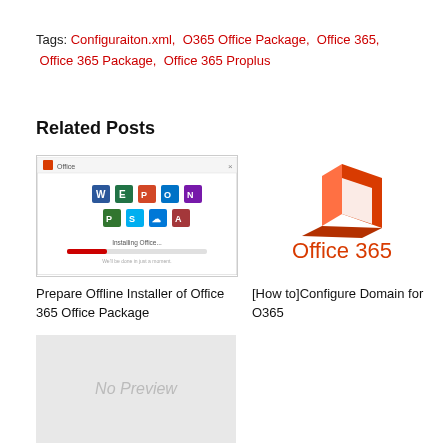Tags: Configuraiton.xml, O365 Office Package, Office 365, Office 365 Package, Office 365 Proplus
Related Posts
[Figure (screenshot): Screenshot of Office 365 installation dialog showing app icons and installing progress bar]
[Figure (logo): Office 365 logo with red door icon and 'Office 365' text in orange-red]
Prepare Offline Installer of Office 365 Office Package
[How to]Configure Domain for O365
[Figure (other): No Preview placeholder image]